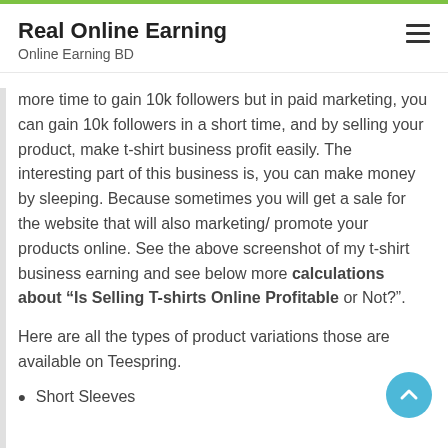Real Online Earning
Online Earning BD
more time to gain 10k followers but in paid marketing, you can gain 10k followers in a short time, and by selling your product, make t-shirt business profit easily. The interesting part of this business is, you can make money by sleeping. Because sometimes you will get a sale for the website that will also marketing/ promote your products online. See the above screenshot of my t-shirt business earning and see below more calculations about “Is Selling T-shirts Online Profitable or Not?”.
Here are all the types of product variations those are available on Teespring.
Short Sleeves